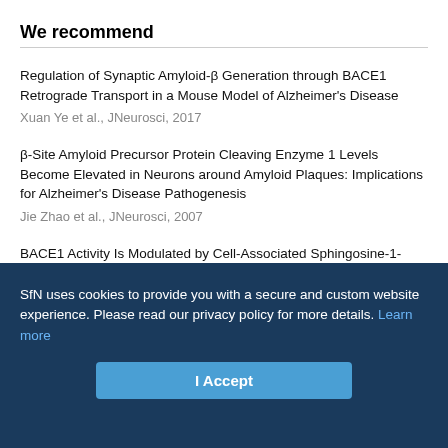We recommend
Regulation of Synaptic Amyloid-β Generation through BACE1 Retrograde Transport in a Mouse Model of Alzheimer's Disease
Xuan Ye et al., JNeurosci, 2017
β-Site Amyloid Precursor Protein Cleaving Enzyme 1 Levels Become Elevated in Neurons around Amyloid Plaques: Implications for Alzheimer's Disease Pathogenesis
Jie Zhao et al., JNeurosci, 2007
BACE1 Activity Is Modulated by Cell-Associated Sphingosine-1-Phosphate
Nobumasa Takasugi et al., JNeurosci, 2011
GGA1 Is Expressed in the Human Brain and Affects the Generation of Amyloid β-Peptide
SfN uses cookies to provide you with a secure and custom website experience. Please read our privacy policy for more details. Learn more
I Accept